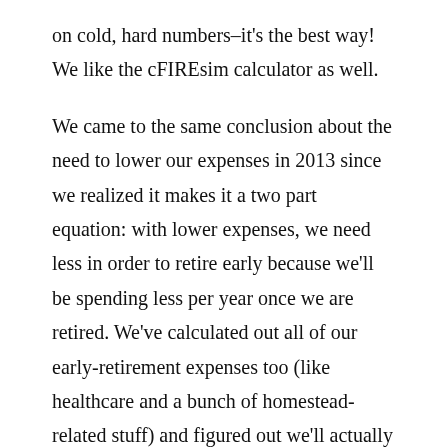on cold, hard numbers–it's the best way! We like the cFIREsim calculator as well.
We came to the same conclusion about the need to lower our expenses in 2013 since we realized it makes it a two part equation: with lower expenses, we need less in order to retire early because we'll be spending less per year once we are retired. We've calculated out all of our early-retirement expenses too (like healthcare and a bunch of homestead-related stuff) and figured out we'll actually be spending more in our first few years of early retirement (thanks to homestead start-up costs). But, over time, our expenses should decrease even more dramatically thanks to